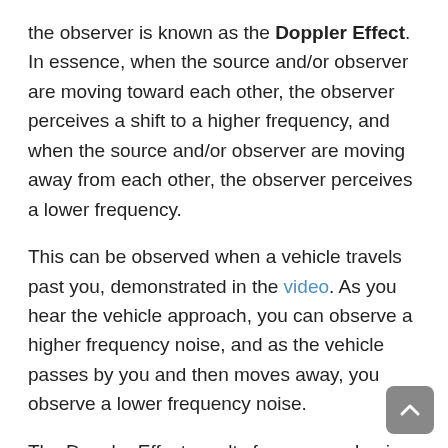the observer is known as the Doppler Effect. In essence, when the source and/or observer are moving toward each other, the observer perceives a shift to a higher frequency, and when the source and/or observer are moving away from each other, the observer perceives a lower frequency.
This can be observed when a vehicle travels past you, demonstrated in the video. As you hear the vehicle approach, you can observe a higher frequency noise, and as the vehicle passes by you and then moves away, you observe a lower frequency noise.
The Doppler Effect results from waves having a fixed speed in a given medium. As waves are emitted, a moving source or observer encounters the wave fronts at a different frequency than they waves are emitted, resulting in a perceived shift in frequency. This